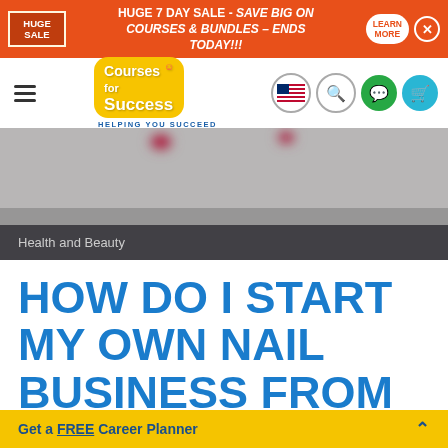HUGE 7 DAY SALE - SAVE BIG ON COURSES & BUNDLES – ENDS TODAY!!!
[Figure (logo): Courses for Success logo with tagline HELPING YOU SUCCEED]
[Figure (photo): Close-up blurred photo of red nail polish on fingers, grey background]
Health and Beauty
HOW DO I START MY OWN NAIL BUSINESS FROM
Get a FREE Career Planner